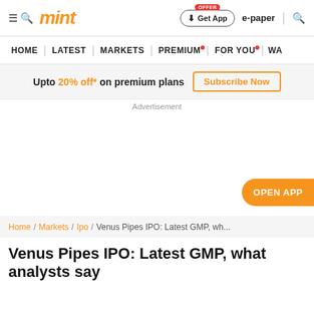mint | Get App | e-paper | search
HOME | LATEST | MARKETS | PREMIUM | FOR YOU | WA...
Upto 20% off* on premium plans Subscribe Now
Advertisement
[Figure (other): Advertisement area with OPEN APP button]
Home / Markets / Ipo / Venus Pipes IPO: Latest GMP, wh...
Venus Pipes IPO: Latest GMP, what analysts say